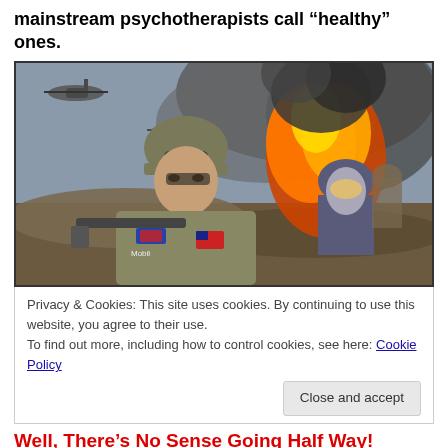mainstream psychotherapists call “healthy” ones.
[Figure (photo): Soldiers in combat gear with weapons amid rubble and a large explosion with fire and smoke behind them, helicopters visible in the sky. One soldier has a 'Mobil' patch on uniform.]
Privacy & Cookies: This site uses cookies. By continuing to use this website, you agree to their use.
To find out more, including how to control cookies, see here: Cookie Policy
Well, There’s No Sense Going Half Way!